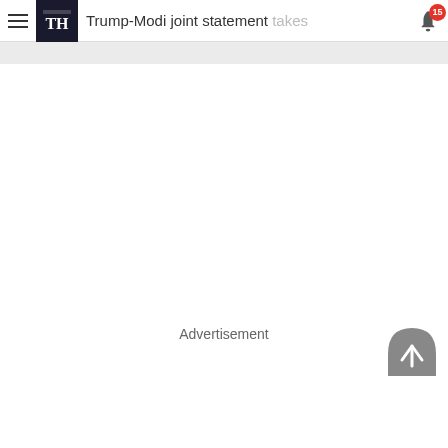Trump-Modi joint statement takes
Advertisement